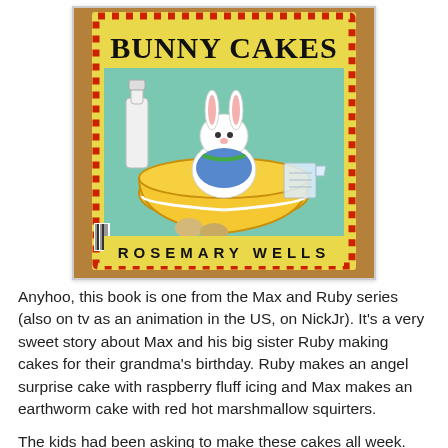[Figure (photo): Photo of the children's book 'Bunny Cakes' by Rosemary Wells. The cover shows a white bunny rabbit sitting in a large yellow mixing bowl, with a milk bottle on the left and a measuring cup on the right. The title 'BUNNY CAKES' is displayed in large black text at the top on a yellow background with a red checkered border. The author's name 'ROSEMARY WELLS' appears at the bottom. The photo is taken on a wooden surface.]
Anyhoo, this book is one from the Max and Ruby series (also on tv as an animation in the US, on NickJr). It's a very sweet story about Max and his big sister Ruby making cakes for their grandma's birthday. Ruby makes an angel surprise cake with raspberry fluff icing and Max makes an earthworm cake with red hot marshmallow squirters.
The kids had been asking to make these cakes all week. They really wanted to make Ruby's cake and said Max's